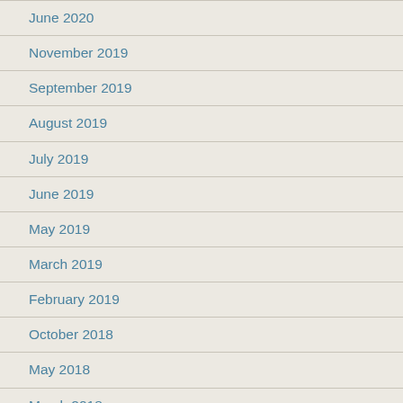June 2020
November 2019
September 2019
August 2019
July 2019
June 2019
May 2019
March 2019
February 2019
October 2018
May 2018
March 2018
November 2017
September 2017
August 2017